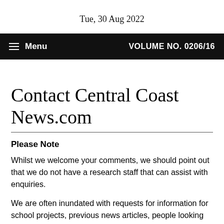Tue, 30 Aug 2022
Menu   VOLUME NO. 0206/16
Contact Central Coast News.com
Please Note
Whilst we welcome your comments, we should point out that we do not have a research staff that can assist with enquiries.
We are often inundated with requests for information for school projects, previous news articles, people looking for jobs, others trying to track down people they have lost